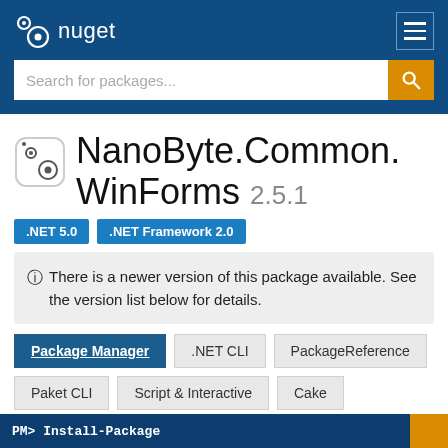nuget
Search for packages...
NanoByte.Common.WinForms 2.5.1
.NET 5.0   .NET Framework 2.0
ⓘ There is a newer version of this package available. See the version list below for details.
Package Manager  .NET CLI  PackageReference  Paket CLI  Script & Interactive  Cake
PM> Install-Package